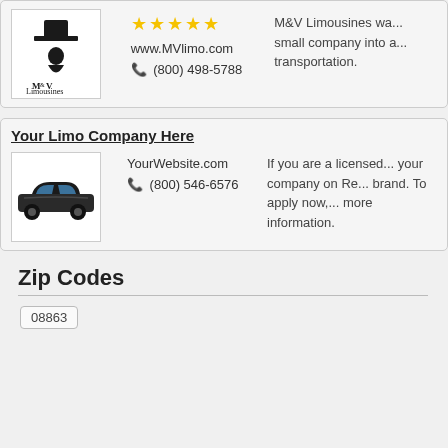[Figure (logo): M&V Limousines logo with top hat and figure]
★★★★★
www.MVlimo.com
☎ (800) 498-5788
M&V Limousines wa... small company into a... transportation.
Your Limo Company Here
[Figure (illustration): Black limousine car illustration]
YourWebsite.com
☎ (800) 546-6576
If you are a licensed... your company on Re... brand. To apply now,... more information.
Zip Codes
08863